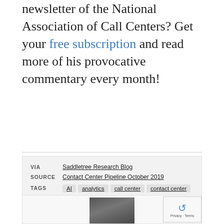newsletter of the National Association of Call Centers? Get your free subscription and read more of his provocative commentary every month!
VIA  Saddletree Research Blog
SOURCE  Contact Center Pipeline October 2019
TAGS  AI  analytics  call center  contact center  customer experience  intelligent call routing  predictive behavioral routing
[Figure (photo): Headshot photo of a bald man, partially visible at bottom of page]